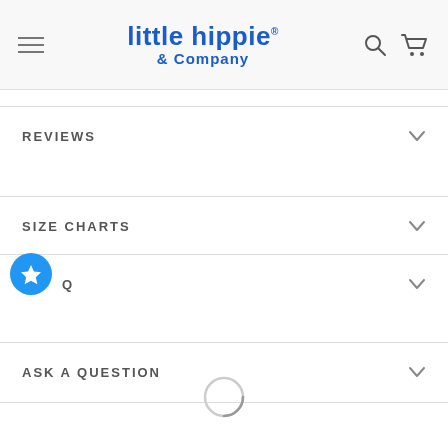little hippie & Company
REVIEWS
SIZE CHARTS
Q
ASK A QUESTION
[Figure (other): Circular loading spinner at bottom of page]